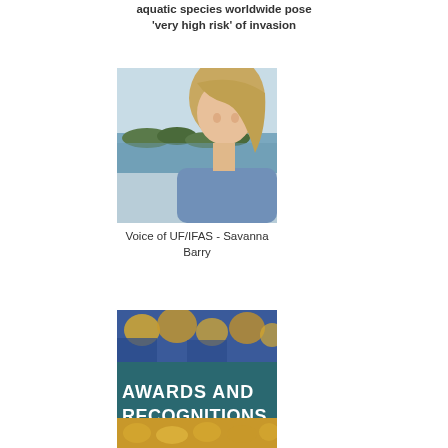aquatic species worldwide pose 'very high risk' of invasion
[Figure (photo): Portrait photo of a woman with blonde hair, outdoors near water with trees in background, wearing a blue top]
Voice of UF/IFAS - Savanna Barry
[Figure (photo): Image with text overlay reading 'AWARDS AND RECOGNITIONS' on a teal/dark background, with musical instruments visible at the top and gold decorative elements at the bottom]